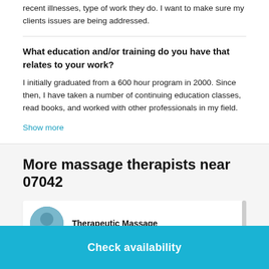recent illnesses, type of work they do. I want to make sure my clients issues are being addressed.
What education and/or training do you have that relates to your work?
I initially graduated from a 600 hour program in 2000. Since then, I have taken a number of continuing education classes, read books, and worked with other professionals in my field.
Show more
More massage therapists near 07042
Therapeutic Massage
Check availability